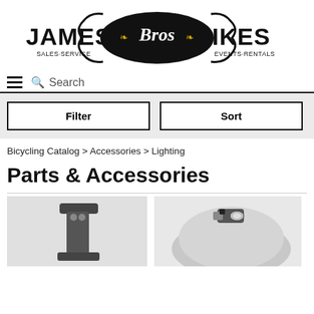[Figure (logo): James Bros Bikes logo with text JAMES Bros BIKES, SALES·SERVICE, EVENTS·RENTALS in black and gold on dark oval badge]
Search
Filter
Sort
Bicycling Catalog > Accessories > Lighting
Parts & Accessories
[Figure (photo): Two product images partially visible: left shows a dark metal bracket/mount accessory, right shows a white helmet with a small front light mounted on it]